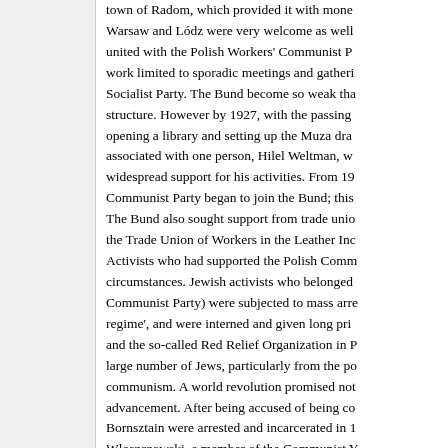town of Radom, which provided it with money. Warsaw and Lódz were very welcome as well. united with the Polish Workers' Communist Party work limited to sporadic meetings and gatherings Socialist Party. The Bund become so weak that structure. However by 1927, with the passing of opening a library and setting up the Muza dramatic circle, associated with one person, Hilel Weltman, who had widespread support for his activities. From 1929, Communist Party began to join the Bund; this The Bund also sought support from trade unions, the Trade Union of Workers in the Leather Industry Activists who had supported the Polish Communist Party circumstances. Jewish activists who belonged to the Communist Party) were subjected to mass arrests regime', and were interned and given long prison sentences and the so-called Red Relief Organization in Poland large number of Jews, particularly from the poor, embraced communism. A world revolution promised not only advancement. After being accused of being communist, Bornsztain were arrested and incarcerated in 1934. Wloszczowski, a member of the Communist Youth another Kielce resident, Icek Kalmus, received a sentence in Checiny. In 1926, a number of activists from the Sendel and Chil Dresler, and Icek Inzelsztain,